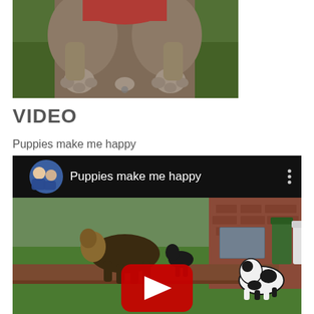[Figure (photo): Close-up photo of dog paws and legs on grass, with a red harness visible, shot from above]
VIDEO
Puppies make me happy
[Figure (screenshot): YouTube video thumbnail showing 'Puppies make me happy' with two dogs on a lawn near a brick house, with a red YouTube play button in the center and a profile picture of two people in blue shirts in the top left]